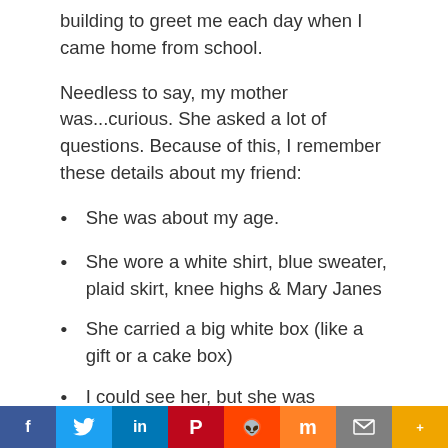building to greet me each day when I came home from school.
Needless to say, my mother was...curious. She asked a lot of questions. Because of this, I remember these details about my friend:
She was about my age.
She wore a white shirt, blue sweater, plaid skirt, knee highs & Mary Janes
She carried a big white box (like a gift or a cake box)
I could see her, but she was transparent.
We walked through each other. We were each going in opposite directions, toward each other.
f  Twitter  in  P  Reddit  m  Mail  More